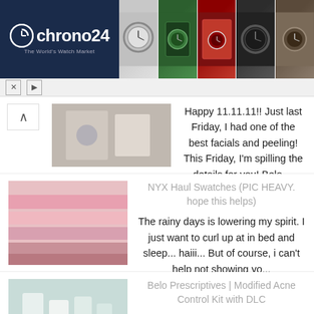[Figure (screenshot): Chrono24 'The World's Watch Market' advertisement banner with logo on dark blue background and 5 watch photos]
[Figure (screenshot): Ad controls bar with X and play button icons]
[Figure (screenshot): Blog entry with thumbnail of facial/clinic image]
Happy 11.11.11!! Just last Friday, I had one of the best facials and peeling! This Friday, I'm spilling the details for you! Belo ...
[Figure (screenshot): Blog entry thumbnail showing NYX lipstick swatches in pink tones]
NYX Haul Swatches (PIC HEAVY. hope this helps)
The rainy days is lowering my spirit. I just want to curl up at in bed and sleep... haiii... But of course, i can't help not showing yo...
[Figure (screenshot): Blog entry thumbnail showing Belo Prescriptives skincare product arrangement]
Belo Prescriptives | Modified Acne Control Kit with DLC
I realize that i've been remiss on my skincare reviews. This blog is full of makeup posts but little about skin care. But since thi...